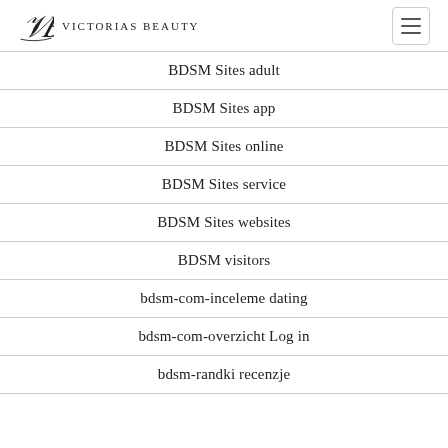Victorias Beauty
BDSM Sites adult
BDSM Sites app
BDSM Sites online
BDSM Sites service
BDSM Sites websites
BDSM visitors
bdsm-com-inceleme dating
bdsm-com-overzicht Log in
bdsm-randki recenzje